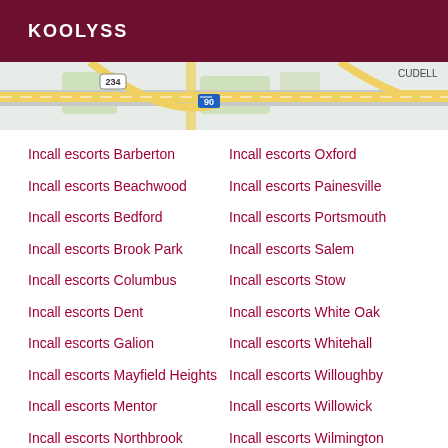KOOLYSS
[Figure (map): Street map snippet showing highway 90 and 254, with CUDELL label, yellow roads on light gray background with green park areas]
Incall escorts Barberton
Incall escorts Oxford
Incall escorts Beachwood
Incall escorts Painesville
Incall escorts Bedford
Incall escorts Portsmouth
Incall escorts Brook Park
Incall escorts Salem
Incall escorts Columbus
Incall escorts Stow
Incall escorts Dent
Incall escorts White Oak
Incall escorts Galion
Incall escorts Whitehall
Incall escorts Mayfield Heights
Incall escorts Willoughby
Incall escorts Willowick
Incall escorts Mentor
Incall escorts Wilmington
Incall escorts Northbrook